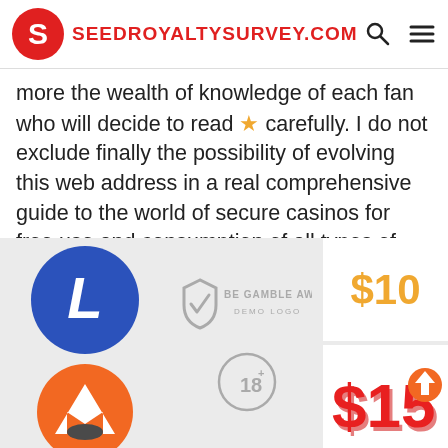SEEDROYALTYSURVEY.COM
more the wealth of knowledge of each fan who will decide to read ⭐ carefully. I do not exclude finally the possibility of evolving this web address in a real comprehensive guide to the world of secure casinos for free use and consumption of all types of users.
[Figure (logo): Litecoin logo - blue circle with white L]
[Figure (logo): Be Gamble Aware demo logo with checkmark shield]
[Figure (logo): 18+ age restriction symbol]
[Figure (logo): Monero logo - orange and dark circle with M]
[Figure (infographic): $10 price in golden text]
[Figure (infographic): $15 price in red 3D text with upward arrow]